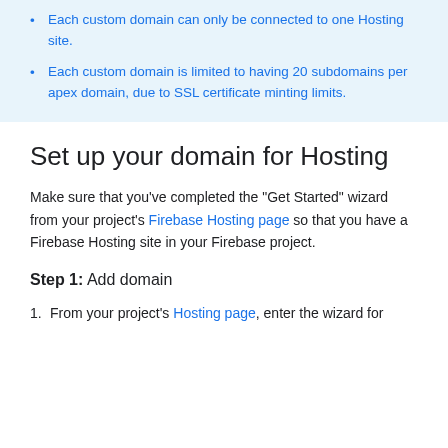Each custom domain can only be connected to one Hosting site.
Each custom domain is limited to having 20 subdomains per apex domain, due to SSL certificate minting limits.
Set up your domain for Hosting
Make sure that you've completed the "Get Started" wizard from your project's Firebase Hosting page so that you have a Firebase Hosting site in your Firebase project.
Step 1: Add domain
From your project's Hosting page, enter the wizard for